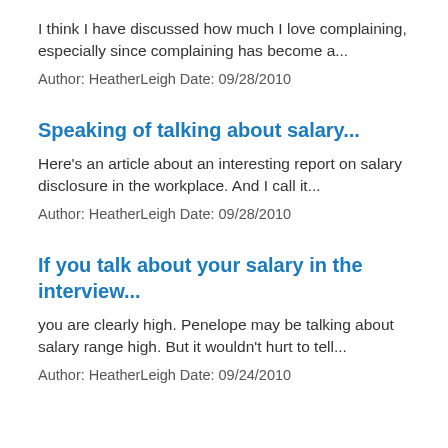I think I have discussed how much I love complaining, especially since complaining has become a...
Author: HeatherLeigh Date: 09/28/2010
Speaking of talking about salary...
Here's an article about an interesting report on salary disclosure in the workplace. And I call it...
Author: HeatherLeigh Date: 09/28/2010
If you talk about your salary in the interview...
you are clearly high. Penelope may be talking about salary range high. But it wouldn't hurt to tell...
Author: HeatherLeigh Date: 09/24/2010